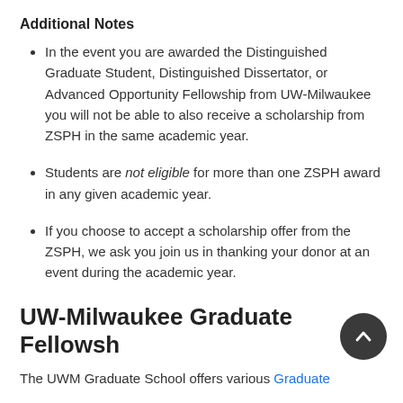Additional Notes
In the event you are awarded the Distinguished Graduate Student, Distinguished Dissertator, or Advanced Opportunity Fellowship from UW-Milwaukee you will not be able to also receive a scholarship from ZSPH in the same academic year.
Students are not eligible for more than one ZSPH award in any given academic year.
If you choose to accept a scholarship offer from the ZSPH, we ask you join us in thanking your donor at an event during the academic year.
UW-Milwaukee Graduate Fellowshi…
The UWM Graduate School offers various Graduate…